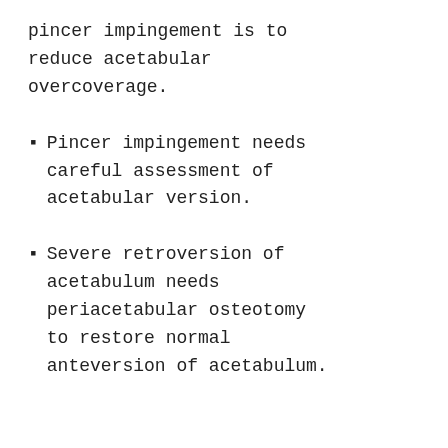pincer impingement is to reduce acetabular overcoverage.
Pincer impingement needs careful assessment of acetabular version.
Severe retroversion of acetabulum needs periacetabular osteotomy to restore normal anteversion of acetabulum.